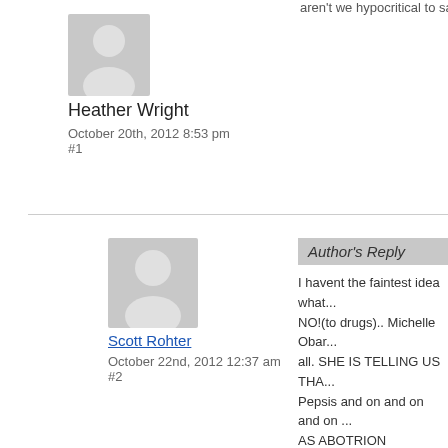[Figure (illustration): Gray avatar placeholder icon for Heather Wright]
Heather Wright
October 20th, 2012 8:53 pm
#1
[Figure (illustration): Gray avatar placeholder icon for Scott Rohter]
Scott Rohter
October 22nd, 2012 12:37 am
#2
Author's Reply
I havent the faintest idea what... NO!(to drugs).. Michelle Obar... all. SHE IS TELLING US THA... Pepsis and on and on and on ... AS ABOTRION RIGHTS…TH... LITTLE UNBORN BABIES.
[Figure (illustration): Gray avatar placeholder icon for JR_1020]
JR_1020
October 26th, 2012 4:14 am
I agree with most of this with on... sound a little silly.
A 12 ounce pepsi has around 40...
A 32 ouncer would have 106 gra...

Not that I am agreeing with her...